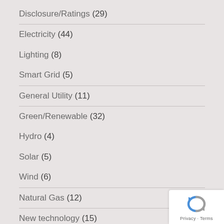Disclosure/Ratings (29)
Electricity (44)
Lighting (8)
Smart Grid (5)
General Utility (11)
Green/Renewable (32)
Hydro (4)
Solar (5)
Wind (6)
Natural Gas (12)
New technology (15)